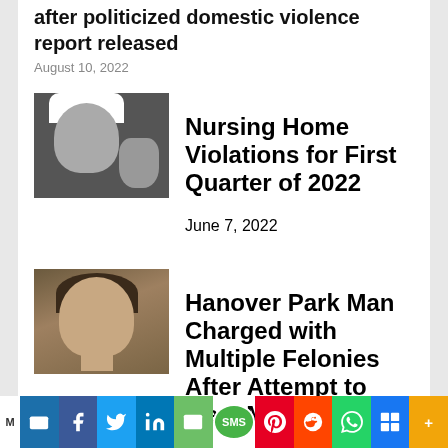after politicized domestic violence report released
August 10, 2022
[Figure (photo): Black and white photo of a nurse holding a baby]
Nursing Home Violations for First Quarter of 2022
June 7, 2022
[Figure (photo): Mugshot photo of a man, Hanover Park suspect]
Hanover Park Man Charged with Multiple Felonies After Attempt to Meet Minor for Sex
May 27, 2022
Hurley-led Measure to Support Families of Fallen First Responders Signed by Governor